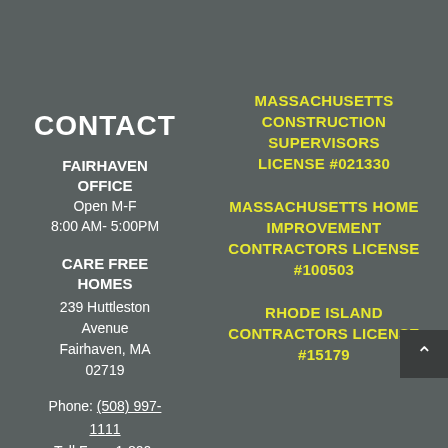CONTACT
FAIRHAVEN OFFICE
Open M-F
8:00 AM- 5:00PM
CARE FREE HOMES
239 Huttleston Avenue
Fairhaven, MA 02719
Phone: (508) 997-1111
Toll Free: 1-800-407-1111
MASSACHUSETTS CONSTRUCTION SUPERVISORS LICENSE #021330
MASSACHUSETTS HOME IMPROVEMENT CONTRACTORS LICENSE #100503
RHODE ISLAND CONTRACTORS LICENSE #15179